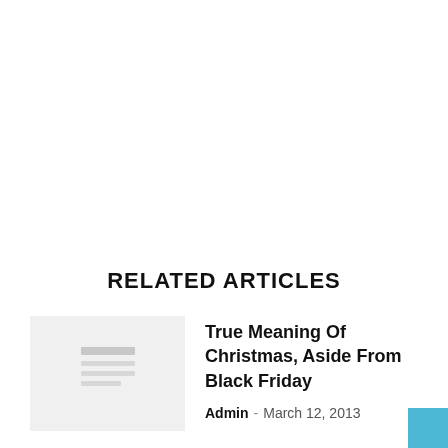RELATED ARTICLES
True Meaning Of Christmas, Aside From Black Friday
Admin – March 12, 2013